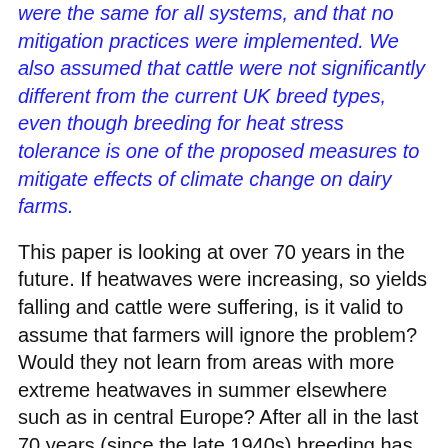were the same for all systems, and that no mitigation practices were implemented. We also assumed that cattle were not significantly different from the current UK breed types, even though breeding for heat stress tolerance is one of the proposed measures to mitigate effects of climate change on dairy farms.
This paper is looking at over 70 years in the future. If heatwaves were increasing, so yields falling and cattle were suffering, is it valid to assume that farmers will ignore the problem? Would they not learn from areas with more extreme heatwaves in summer elsewhere such as in central Europe? After all in the last 70 years (since the late 1940s) breeding has increased milk yields phenomenally (from AHDB data, milk yields per cow have increased 15% from 2001/2 to 2016/7 alone) so a bit of breeding to cope with heatwaves should be a minor issue.